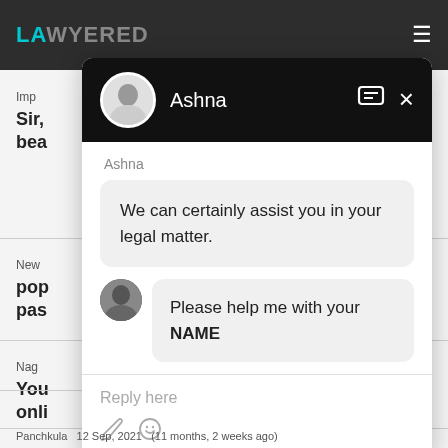LAWYERED
[Figure (screenshot): Chat popup overlay with Ashna agent showing conversation: 'We can certainly assist you in your legal matter.' and 'Please help me with your NAME']
Ashna
We can certainly assist you in your legal matter.
Please help me with your NAME
Reply here
Panchkula  12 Sep, 2021  (11 months, 2 weeks ago)